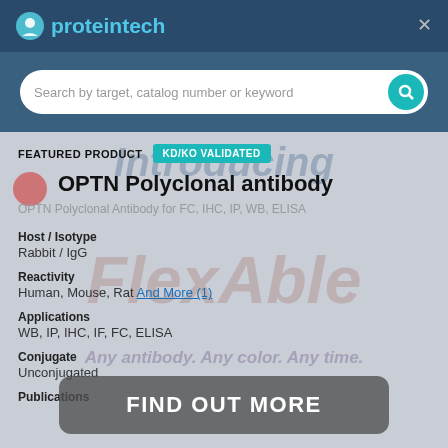proteintech
Search by target, catalog number or keyword
Introducing
FEATURED PRODUCT  KD/KO VALIDATED
OPTN Polyclonal antibody
OPTN Polyclonal Antibody for FC, IHC, IP, WB, ELISA
[Figure (illustration): FlexAble colorful watermark text behind product details]
Host / Isotype
Rabbit / IgG
Reactivity
Human, Mouse, Rat And More (1)
Applications
WB, IP, IHC, IF, FC, ELISA
Conjugate
Unconjugated
Publications
FIND OUT MORE